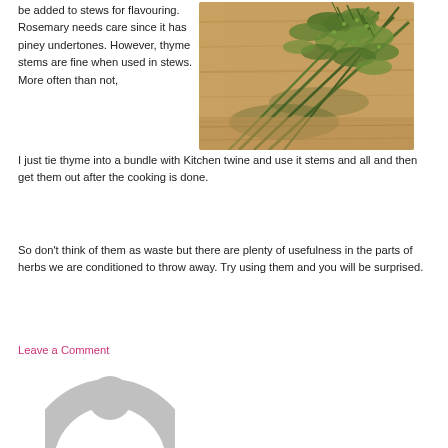be added to stews for flavouring.  Rosemary needs care since it has piney undertones.  However, thyme stems are fine when used in stews.  More often than not, I just tie thyme into a bundle with Kitchen twine and use it stems and all and then get them out after the cooking is done.
[Figure (photo): Photo of fresh herb sprigs (rosemary and thyme) on a wooden surface]
So don’t think of them as waste but there are plenty of usefulness in the parts of herbs we are conditioned to throw away.  Try using them and you will be surprised.
Leave a Comment
[Figure (illustration): Gray avatar/profile placeholder icon]